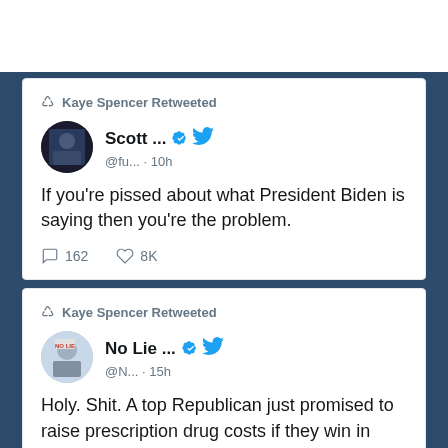[Figure (screenshot): Twitter/social media screenshot showing two retweeted tweets by Kaye Spencer]
Kaye Spencer Retweeted
Scott ... @fu... · 10h
If you're pissed about what President Biden is saying then you're the problem.
162   8K
Kaye Spencer Retweeted
No Lie ... @N... · 15h
Holy. Shit. A top Republican just promised to raise prescription drug costs if they win in November